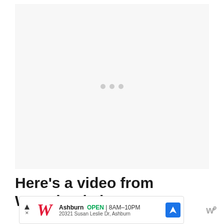[Figure (other): Video player placeholder with light gray background and loading dots in the center]
Here’s a video from Waterhaul about
[Figure (other): Advertisement banner for Walgreens showing Ashburn location, OPEN 8AM-10PM, address 20321 Susan Leslie Dr, Ashburn, with navigation icon and Walgreens logo]